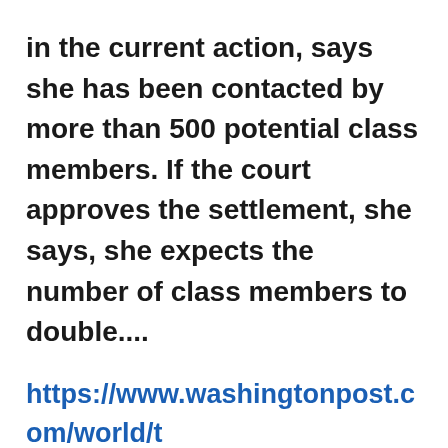in the current action, says she has been contacted by more than 500 potential class members. If the court approves the settlement, she says, she expects the number of class members to double....
https://www.washingtonpost.com/world/the_americas/the-royal-canadian-mounted-police-a-beloved-national-icon-rocked-by-sexual-abuse-and-